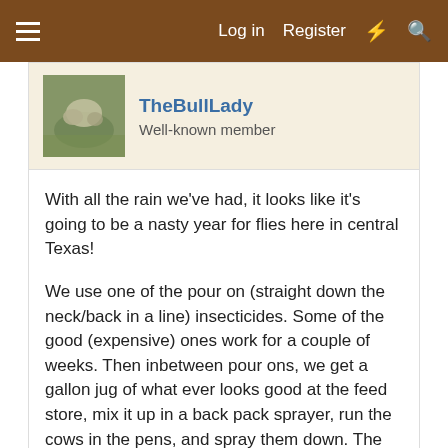Log in  Register
TheBullLady
Well-known member
With all the rain we've had, it looks like it's going to be a nasty year for flies here in central Texas!
We use one of the pour on (straight down the neck/back in a line) insecticides. Some of the good (expensive) ones work for a couple of weeks. Then inbetween pour ons, we get a gallon jug of what ever looks good at the feed store, mix it up in a back pack sprayer, run the cows in the pens, and spray them down. The spray on's don't last nearly as long, but they are better for getting the belly and legs.
The fly tags really do work well.. especially good for keeping flies off the eyes.. which is a good thing for pink eye